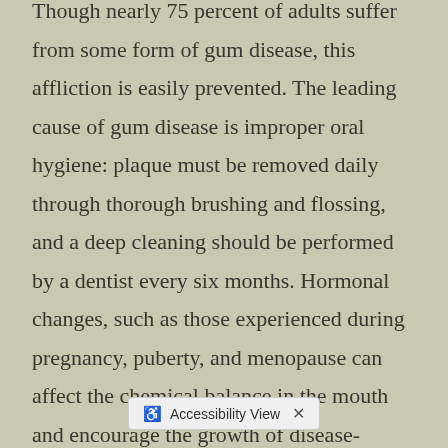Though nearly 75 percent of adults suffer from some form of gum disease, this affliction is easily prevented. The leading cause of gum disease is improper oral hygiene: plaque must be removed daily through thorough brushing and flossing, and a deep cleaning should be performed by a dentist every six months. Hormonal changes, such as those experienced during pregnancy, puberty, and menopause can affect the chemical balance in the mouth and encourage the growth of disease-causing bacteria. Certain medical conditions, such as diabetes and kidney disease, as well as certain medications, can also lead to gum disease.
Early stage gum disease is known as gingivitis. This is often treatable with non-surgical treatment such as prescription mouthwas... not